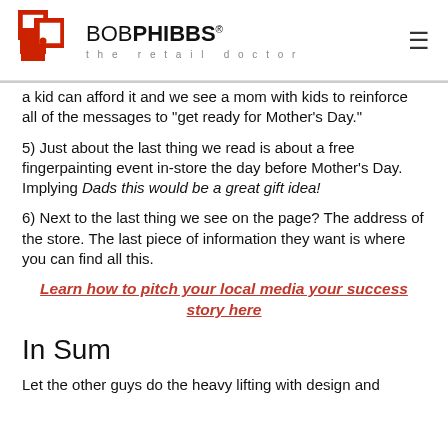BOB PHIBBS the retail doctor
a kid can afford it and we see a mom with kids to reinforce all of the messages to "get ready for Mother's Day."
5) Just about the last thing we read is about a free fingerpainting event in-store the day before Mother's Day. Implying Dads this would be a great gift idea!
6) Next to the last thing we see on the page? The address of the store. The last piece of information they want is where you can find all this.
Learn how to pitch your local media your success story here
In Sum
Let the other guys do the heavy lifting with design and